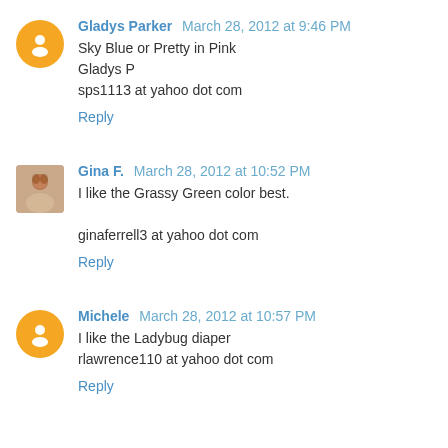Gladys Parker March 28, 2012 at 9:46 PM
Sky Blue or Pretty in Pink
Gladys P
sps1113 at yahoo dot com
Reply
Gina F. March 28, 2012 at 10:52 PM
I like the Grassy Green color best.
ginaferrell3 at yahoo dot com
Reply
Michele March 28, 2012 at 10:57 PM
I like the Ladybug diaper
rlawrence110 at yahoo dot com
Reply